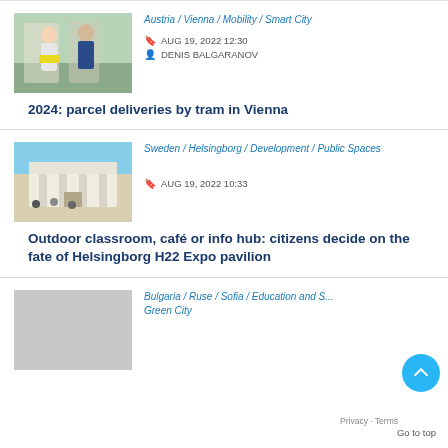Austria / Vienna / Mobility / Smart City
AUG 19, 2022 12:30
DENIS BALGARANOV
[Figure (photo): Two people wearing masks on a tram, one holding a yellow package]
2024: parcel deliveries by tram in Vienna
Sweden / Helsingborg / Development / Public Spaces
AUG 19, 2022 10:33
[Figure (photo): Exterior of a modern building with people outside, blue sky]
Outdoor classroom, café or info hub: citizens decide on the fate of Helsingborg H22 Expo pavilion
Bulgaria / Ruse / Sofia / Education and S... Green City